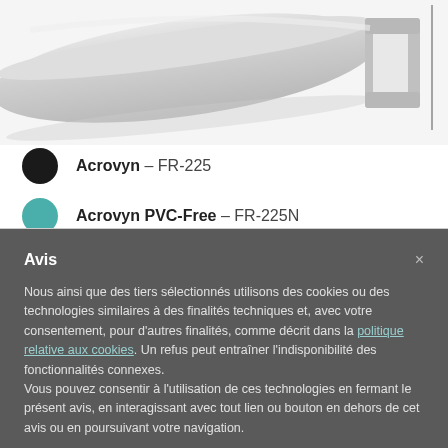[Figure (photo): Close-up photo of a grey PVC or acrovyn wall rail product profile, shown at an angle with a C-shaped cross section visible on the right side.]
Acrovyn – FR-225
Acrovyn PVC-Free – FR-225N
Avis
Nous ainsi que des tiers sélectionnés utilisons des cookies ou des technologies similaires à des finalités techniques et, avec votre consentement, pour d'autres finalités, comme décrit dans la politique relative aux cookies. Un refus peut entraîner l'indisponibilité des fonctionnalités connexes.
Vous pouvez consentir à l'utilisation de ces technologies en fermant le présent avis, en interagissant avec tout lien ou bouton en dehors de cet avis ou en poursuivant votre navigation.